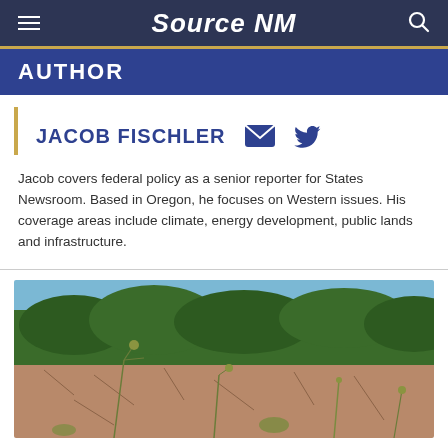Source NM
AUTHOR
JACOB FISCHLER
Jacob covers federal policy as a senior reporter for States Newsroom. Based in Oregon, he focuses on Western issues. His coverage areas include climate, energy development, public lands and infrastructure.
[Figure (photo): Outdoor photograph showing dry cracked earth with sparse weedy plants in the foreground and dense green trees in the background under a blue sky.]